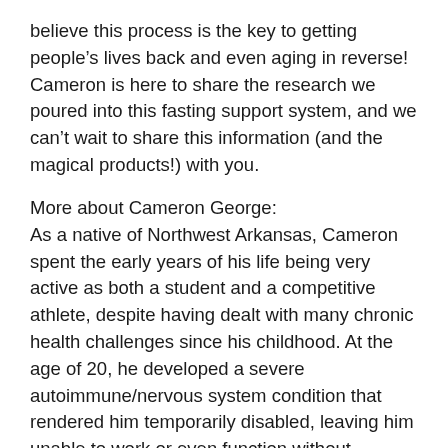believe this process is the key to getting people's lives back and even aging in reverse! Cameron is here to share the research we poured into this fasting support system, and we can't wait to share this information (and the magical products!) with you.
More about Cameron George:
As a native of Northwest Arkansas, Cameron spent the early years of his life being very active as both a student and a competitive athlete, despite having dealt with many chronic health challenges since his childhood. At the age of 20, he developed a severe autoimmune/nervous system condition that rendered him temporarily disabled, leaving him unable to work or even function without assistance. The condition had also lead him to develop a vast array of debilitating symptoms that included constant severe anxiety,